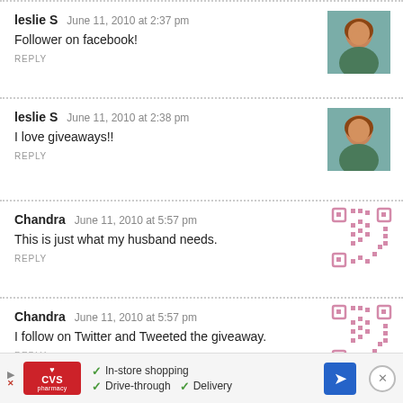leslie S   June 11, 2010 at 2:37 pm
Follower on facebook!
REPLY
[Figure (photo): Profile photo of leslie S — woman with brown hair]
leslie S   June 11, 2010 at 2:38 pm
I love giveaways!!
REPLY
[Figure (photo): Profile photo of leslie S — woman with brown hair]
Chandra   June 11, 2010 at 5:57 pm
This is just what my husband needs.
REPLY
[Figure (other): QR code style avatar for Chandra in pink]
Chandra   June 11, 2010 at 5:57 pm
I follow on Twitter and Tweeted the giveaway.
REPLY
[Figure (other): QR code style avatar for Chandra in pink]
[Figure (infographic): CVS Pharmacy advertisement bar: In-store shopping, Drive-through, Delivery]